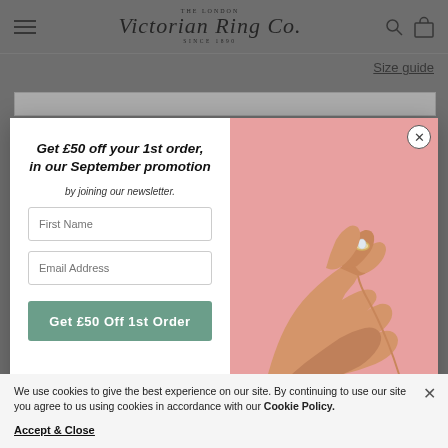THE LONDON Victorian Ring Co. SINCE 1890
Size guide
[Figure (screenshot): Promotional popup modal for The London Victorian Ring Co. Left panel shows: 'Get £50 off your 1st order, in our September promotion by joining our newsletter.' with First Name and Email Address input fields and a 'Get £50 Off 1st Order' green button. Right panel shows a pink background with hands wearing a diamond ring.]
We use cookies to give the best experience on our site. By continuing to use our site you agree to us using cookies in accordance with our Cookie Policy.
Accept & Close